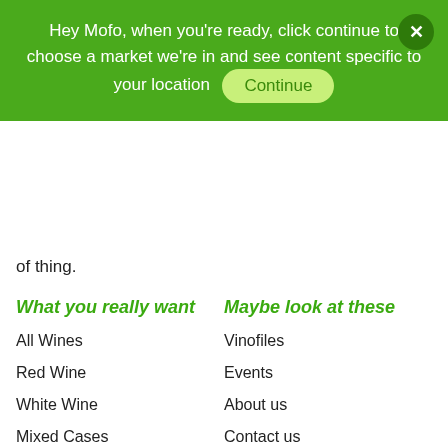Hey Mofo, when you're ready, click continue to choose a market we're in and see content specific to your location
of thing.
What you really want
Maybe look at these
All Wines
Vinofiles
Red Wine
Events
White Wine
About us
Mixed Cases
Contact us
Jobs
The boring stuff
Stalk us
Returns
Facebook
Shipping
Twitter